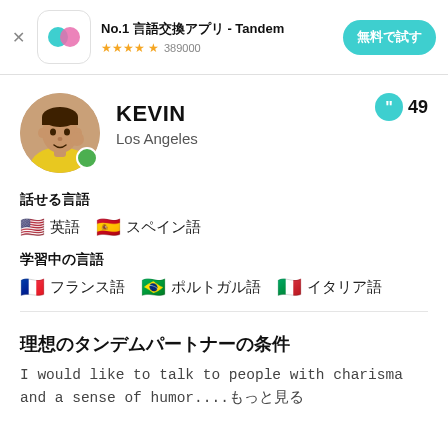[Figure (screenshot): App advertisement banner for Tandem language exchange app with icon, star rating 389000 reviews, and call-to-action button]
No.1 言語交換アプリ - Tandem
★★★★½ 389000
無料で試す
[Figure (photo): Profile photo of Kevin, a young man in a yellow shirt]
KEVIN
Los Angeles
49
話せる言語
🇺🇸 英語　🇪🇸 スペイン語
学習中の言語
🇫🇷 フランス語　🇧🇷 ポルトガル語　🇮🇹 イタリア語
理想のタンデムパートナーの条件
I would like to talk to people with charisma and a sense of humor....もっと見る